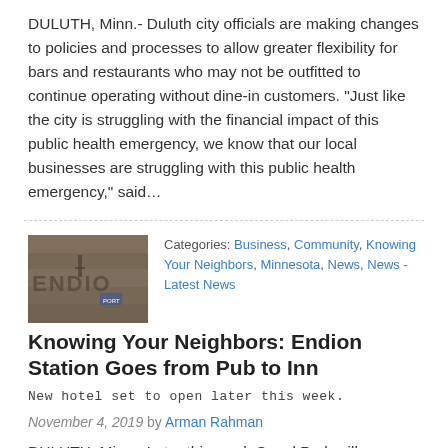DULUTH, Minn.- Duluth city officials are making changes to policies and processes to allow greater flexibility for bars and restaurants who may not be outfitted to continue operating without dine-in customers. “Just like the city is struggling with the financial impact of this public health emergency, we know that our local businesses are struggling with this public health emergency,” said…
[Figure (photo): A stone building facade with carved text partially visible, showing letters 'ENDION']
Categories: Business, Community, Knowing Your Neighbors, Minnesota, News, News - Latest News
Knowing Your Neighbors: Endion Station Goes from Pub to Inn
New hotel set to open later this week.
November 4, 2019 by Arman Rahman
DULUTH, Minn.- Later this week Canal Park will